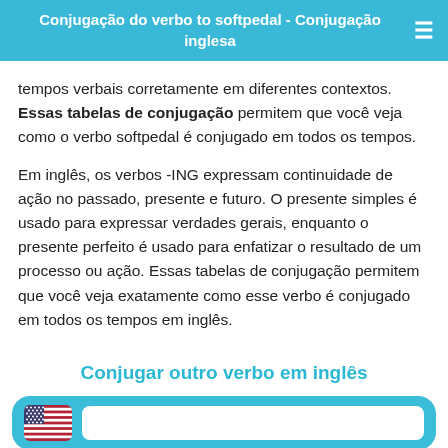Conjugação do verbo to softpedal - Conjugação inglesa
tempos verbais corretamente em diferentes contextos. Essas tabelas de conjugação permitem que você veja como o verbo softpedal é conjugado em todos os tempos.
Em inglês, os verbos -ING expressam continuidade de ação no passado, presente e futuro. O presente simples é usado para expressar verdades gerais, enquanto o presente perfeito é usado para enfatizar o resultado de um processo ou ação. Essas tabelas de conjugação permitem que você veja exatamente como esse verbo é conjugado em todos os tempos em inglês.
Conjugar outro verbo em inglês
[Figure (infographic): A teal/blue rounded box containing a US flag icon on the left and a white text input search box on the right, for entering a verb to conjugate.]